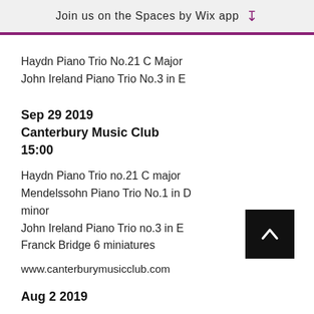Join us on the Spaces by Wix app
Haydn Piano Trio No.21 C Major
John Ireland Piano Trio No.3 in E
Sep 29 2019
Canterbury Music Club
15:00
Haydn Piano Trio no.21 C major
Mendelssohn Piano Trio No.1 in D minor
John Ireland Piano Trio no.3 in E
Franck Bridge 6 miniatures
www.canterburymusicclub.com
Aug 2 2019